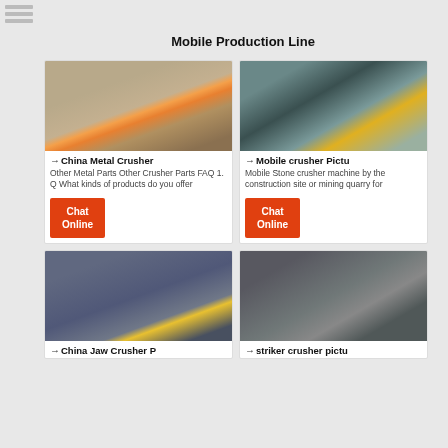Mobile Production Line
[Figure (photo): Industrial crusher equipment at a quarry/construction site - China Metal Crusher]
→ China Metal Crusher
Other Metal Parts Other Crusher Parts FAQ 1. Q What kinds of products do you offer
[Figure (photo): Mobile stone crusher machine at a mining quarry - Mobile crusher Pictures]
→ Mobile crusher Pictu
Mobile Stone crusher machine by the construction site or mining quarry for
[Figure (photo): China Jaw Crusher machine in an industrial facility]
→ China Jaw Crusher P
[Figure (photo): Striker crusher machine at a mining/construction site]
→ striker crusher pictu